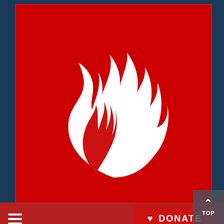[Figure (logo): White flame icon on red background]
[Figure (screenshot): Navigation bar with hamburger menu on left and red DONATE button with heart icon on right]
[Figure (screenshot): Dark navy blue lower section of webpage with partial TO TOP back-to-top button in bottom right corner]